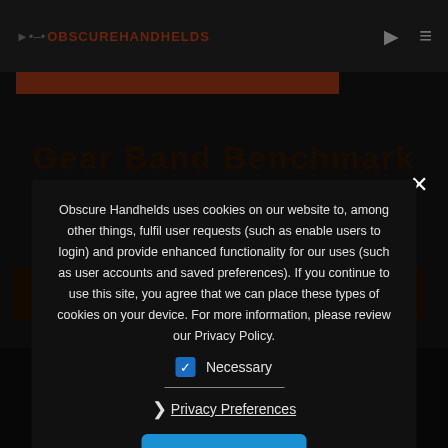ObscureHandhelds
Obscure Handhelds uses cookies on our website to, among other things, fulfil user requests (such as enable users to login) and provide enhanced functionality for our uses (such as user accounts and saved preferences). If you continue to use this site, you agree that we can place these types of cookies on your device. For more information, please review our Privacy Policy.
Necessary
Privacy Preferences
I Agree
contact@obscurehandhelds.com
obscurehandhelds © 2022